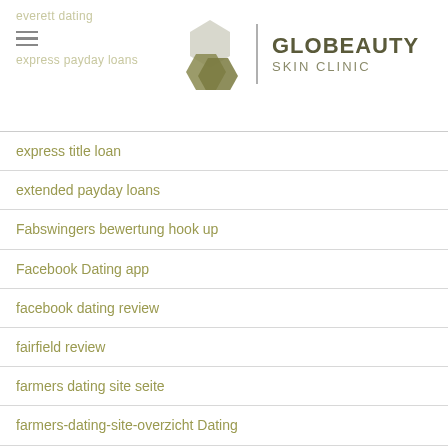everett dating | GLOBEAUTY SKIN CLINIC | express payday loans
express title loan
extended payday loans
Fabswingers bewertung hook up
Facebook Dating app
facebook dating review
fairfield review
farmers dating site seite
farmers-dating-site-overzicht Dating
Farmersonly seite hookup
fast cash advance payday loans